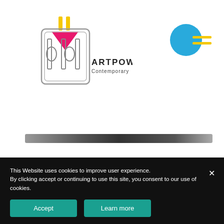[Figure (logo): ArtPowHer Contemporary logo: geometric stylized letters with pink triangle and metallic frame, plus text 'ARTPOWHER Contemporary']
[Figure (logo): Blue circle with two yellow horizontal lines (hamburger menu icon)]
[Figure (other): Dark metallic horizontal bar/divider]
This Website uses cookies to improve user experience. By clicking accept or continuing to use this site, you consent to our use of cookies.
Accept
Learn more